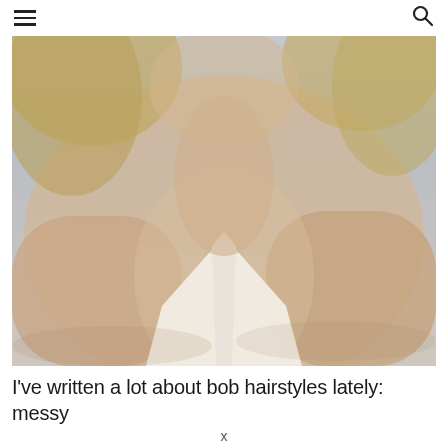☰ [hamburger menu] | [search icon]
[Figure (photo): Close-up photo of a blonde woman wearing a white halter top, showing her neck, shoulders and chest area against a light blue background.]
I've written a lot about bob hairstyles lately: messy